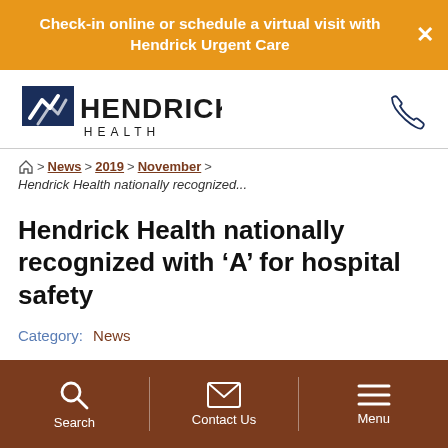Check-in online or schedule a virtual visit with Hendrick Urgent Care
[Figure (logo): Hendrick Health logo with blue arrow graphic and HENDRICK HEALTH text]
Home > News > 2019 > November > Hendrick Health nationally recognized...
Hendrick Health nationally recognized with 'A' for hospital safety
Category: News
Search | Contact Us | Menu